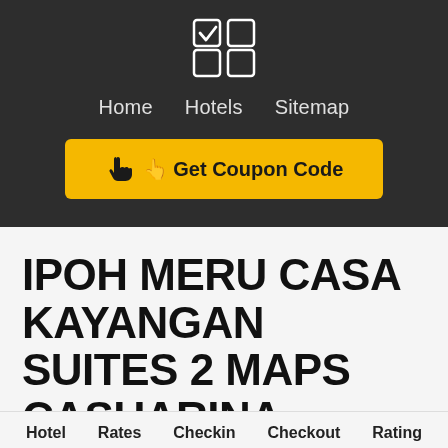[Figure (logo): 2x2 grid of squares icon with top-left square having a checkmark, shown in white on dark background]
Home   Hotels   Sitemap
[Figure (other): Yellow button with hand pointer icon and text: Get Coupon Code]
IPOH MERU CASA KAYANGAN SUITES 2 MAPS CASUARINA
Persiaran Meru Raya 4 Ipoh, Malaysia
Hotel   Rates   Checkin   Checkout   Rating